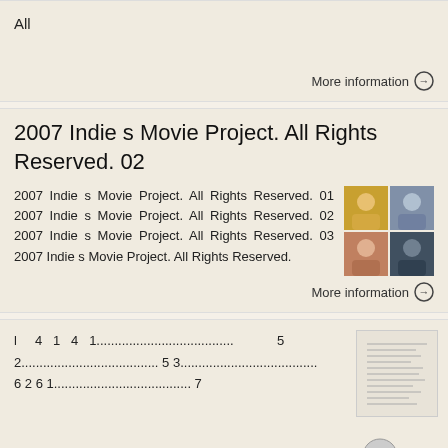All
More information →
2007 Indie s Movie Project. All Rights Reserved. 02
2007 Indie s Movie Project. All Rights Reserved. 01 2007 Indie s Movie Project. All Rights Reserved. 02 2007 Indie s Movie Project. All Rights Reserved. 03 2007 Indie s Movie Project. All Rights Reserved.
[Figure (photo): Grid of four portrait photos of people]
More information →
l 4 1 4 1...................................... 5 2...................................... 5 3...................................... 6 2 6 1...................................... 7
[Figure (screenshot): Thumbnail of a document with text lines]
More information →